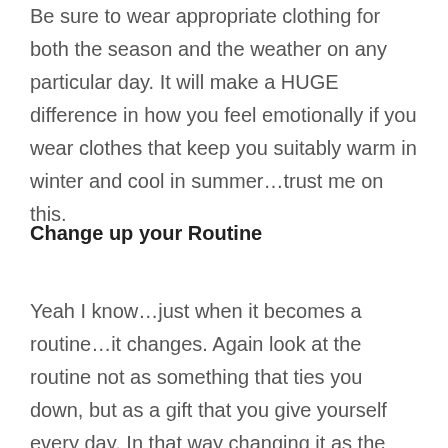Be sure to wear appropriate clothing for both the season and the weather on any particular day. It will make a HUGE difference in how you feel emotionally if you wear clothes that keep you suitably warm in winter and cool in summer…trust me on this.
Change up your Routine
Yeah I know…just when it becomes a routine…it changes. Again look at the routine not as something that ties you down, but as a gift that you give yourself every day. In that way changing it as the seasons change and new